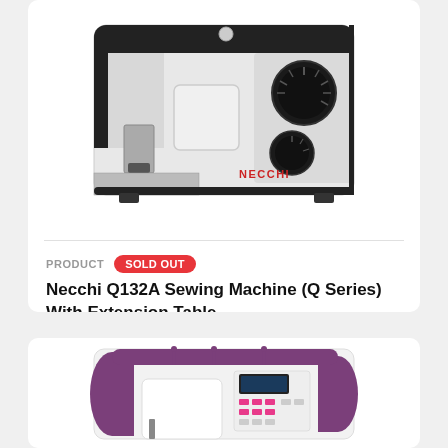[Figure (photo): Photo of a white and black Necchi Q132A sewing machine with extension table, showing the NECCHI brand logo in red on the machine body.]
PRODUCT   SOLD OUT
Necchi Q132A Sewing Machine (Q Series) With Extension Table
[Figure (photo): Photo of a white and purple/plum colored Necchi sewing machine with digital display panel and decorative purple accents.]